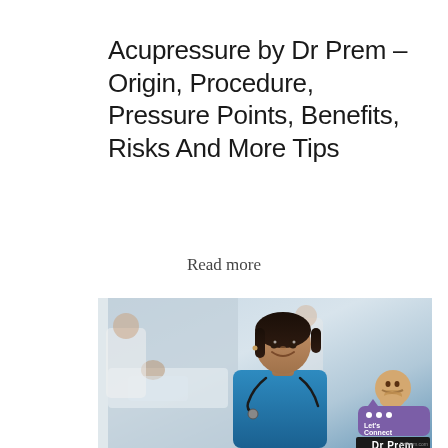Acupressure by Dr Prem – Origin, Procedure, Pressure Points, Benefits, Risks And More Tips
Read more
[Figure (photo): A smiling female nurse or doctor in blue scrubs with a stethoscope, standing in a hospital setting with blurred medical staff and patient in the background. A Dr Prem branding badge with avatar, purple speech bubble with 'Let's Connect', and black 'Dr Prem' label appears in the bottom right corner.]